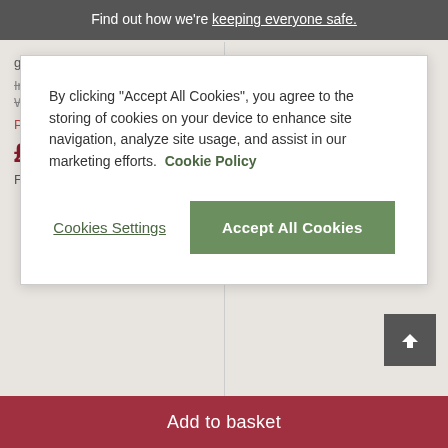Find out how we're keeping everyone safe.
By clicking “Accept All Cookies”, you agree to the storing of cookies on your device to enhance site navigation, analyze site usage, and assist in our marketing efforts. Cookie Policy
Cookies Settings | Accept All Cookies
get HALF PRICE* chairs
Individually: £1,119.99
Was: £839.99
Price after half price* chair offer:
£799.99
Finance from £20 p/m*
get HALF PRICE* chairs
Individually: £1,119.99
Price after half price* chair offer:
£839.99
Finance from £21 p/m*
Add to basket